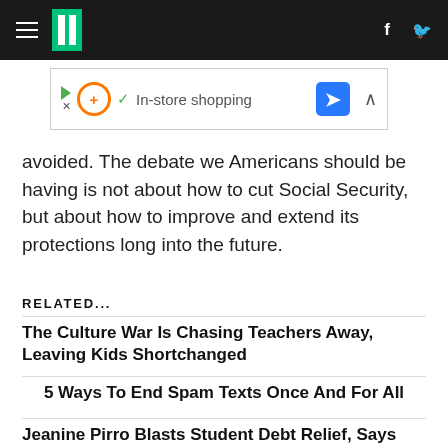HuffPost navigation bar with logo, hamburger menu, Facebook and Twitter icons
[Figure (screenshot): Advertisement banner: play button, orange circle plus icon, green checkmark, 'In-store shopping' text, blue diamond arrow icon, collapse caret]
avoided. The debate we Americans should be having is not about how to cut Social Security, but about how to improve and extend its protections long into the future.
RELATED...
The Culture War Is Chasing Teachers Away, Leaving Kids Shortchanged
5 Ways To End Spam Texts Once And For All
Jeanine Pirro Blasts Student Debt Relief, Says 'My Family Paid For My Education'